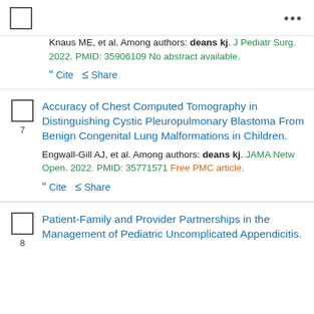[checkbox] ...
Knaus ME, et al. Among authors: deans kj. J Pediatr Surg. 2022. PMID: 35906109 No abstract available.
" Cite < Share
Accuracy of Chest Computed Tomography in Distinguishing Cystic Pleuropulmonary Blastoma From Benign Congenital Lung Malformations in Children.
Engwall-Gill AJ, et al. Among authors: deans kj. JAMA Netw Open. 2022. PMID: 35771571 Free PMC article.
" Cite < Share
Patient-Family and Provider Partnerships in the Management of Pediatric Uncomplicated Appendicitis.